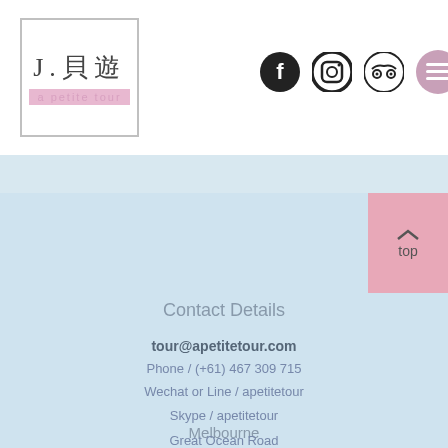a petite tour (logo)
Contact Details | tour@apetitetour.com | Phone / (+61) 467 309 715 | Wechat or Line / apetitetour | Skype / apetitetour | Melbourne | Great Ocean Road | Phillip Island
Contact Details
tour@apetitetour.com
Phone / (+61) 467 309 715
Wechat or Line / apetitetour
Skype / apetitetour
Melbourne
Great Ocean Road
Phillip Island